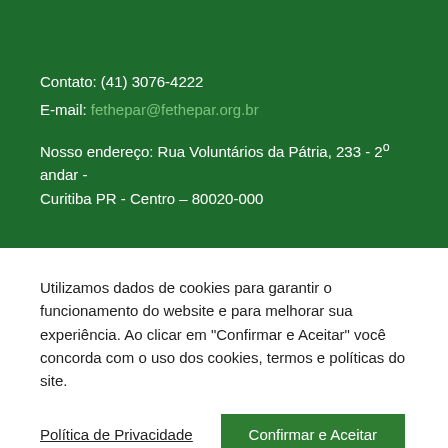Contato: (41) 3076-4222
E-mail: fethepar@fethepar.org.br

Nosso endereço: Rua Voluntários da Pátria, 233 - 2º andar - Curitiba PR - Centro – 80020-000
Utilizamos dados de cookies para garantir o funcionamento do website e para melhorar sua experiência. Ao clicar em "Confirmar e Aceitar" você concorda com o uso dos cookies, termos e políticas do site.
Política de Privacidade
Confirmar e Aceitar